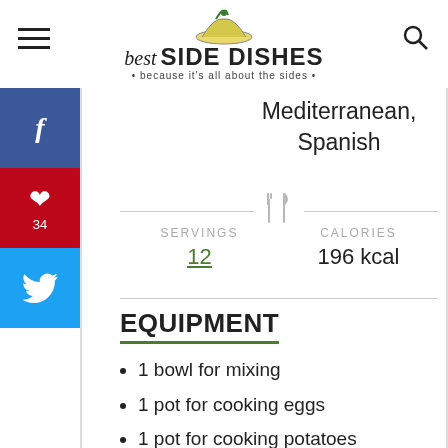best SIDE DISHES • because it's all about the sides •
Mediterranean, Spanish
SERVINGS 12   CALORIES 196 kcal
EQUIPMENT
1 bowl for mixing
1 pot for cooking eggs
1 pot for cooking potatoes
1 Knife